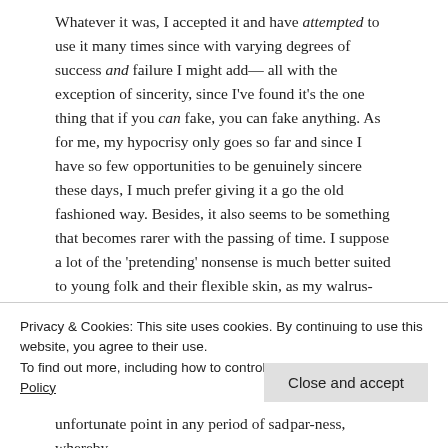Whatever it was, I accepted it and have attempted to use it many times since with varying degrees of success and failure I might add— all with the exception of sincerity, since I've found it's the one thing that if you can fake, you can fake anything. As for me, my hypocrisy only goes so far and since I have so few opportunities to be genuinely sincere these days, I much prefer giving it a go the old fashioned way. Besides, it also seems to be something that becomes rarer with the passing of time. I suppose a lot of the 'pretending' nonsense is much better suited to young folk and their flexible skin, as my walrus-like derma gives the game away with far too
Privacy & Cookies: This site uses cookies. By continuing to use this website, you agree to their use.
To find out more, including how to control cookies, see here: Cookie Policy
unfortunate point in any period of sadʼ par-ness, whereby